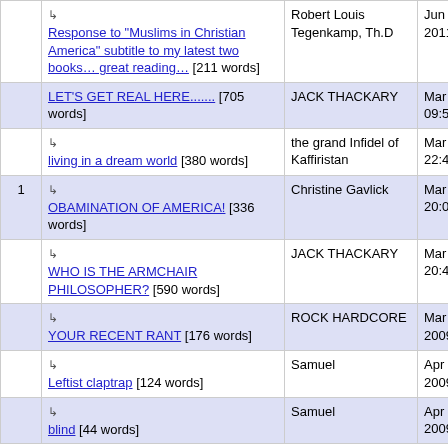| # | Title | Author | Date |
| --- | --- | --- | --- |
|  | ↳ Response to "Muslims in Christian America" subtitle to my latest two books… great reading… [211 words] | Robert Louis Tegenkamp, Th.D | Jun 12, 2011 00:26 |
|  | LET'S GET REAL HERE........ [705 words] | JACK THACKARY | Mar 8, 2009 09:52 |
|  | ↳ living in a dream world [380 words] | the grand Infidel of Kaffiristan | Mar 8, 2009 22:47 |
| 1 | ↳ OBAMINATION OF AMERICA! [336 words] | Christine Gavlick | Mar 9, 2009 20:04 |
|  | ↳ WHO IS THE ARMCHAIR PHILOSOPHER? [590 words] | JACK THACKARY | Mar 9, 2009 20:43 |
|  | ↳ YOUR RECENT RANT [176 words] | ROCK HARDCORE | Mar 18, 2009 03:58 |
|  | ↳ Leftist claptrap [124 words] | Samuel | Apr 26, 2009 07:55 |
|  | ↳ blind [44 words] | Samuel | Apr 27, 2009 10:44 |